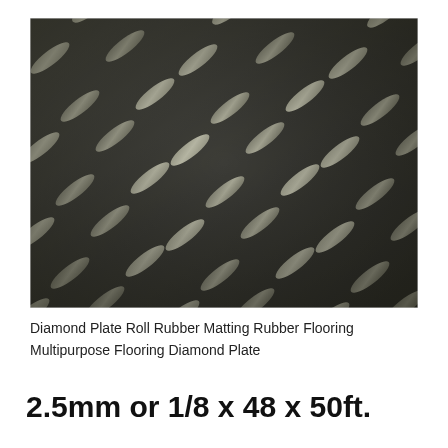[Figure (photo): Close-up photograph of dark gray/black diamond plate rubber matting with raised diamond-shaped ridges in a repeating diagonal pattern, showing light reflections on the raised surfaces.]
Diamond Plate Roll Rubber Matting Rubber Flooring Multipurpose Flooring Diamond Plate
2.5mm or 1/8 x 48 x 50ft.